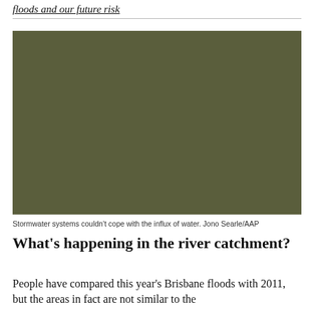floods and our future risk
[Figure (photo): A photograph showing floodwater or stormwater overwhelm, with an overall olive/dark green tone (appears darkened or partially obscured). Related to Brisbane floods and stormwater systems unable to cope with influx of water.]
Stormwater systems couldn't cope with the influx of water. Jono Searle/AAP
What's happening in the river catchment?
People have compared this year's Brisbane floods with 2011, but the areas in fact are not similar to the